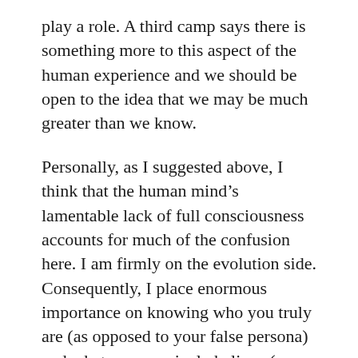play a role. A third camp says there is something more to this aspect of the human experience and we should be open to the idea that we may be much greater than we know.
Personally, as I suggested above, I think that the human mind's lamentable lack of full consciousness accounts for much of the confusion here. I am firmly on the evolution side. Consequently, I place enormous importance on knowing who you truly are (as opposed to your false persona) and what you genuinely believe (as opposed to what you pay lip service to). Vague intimations of “something more” are, in my experience, always the result of stirrings in the